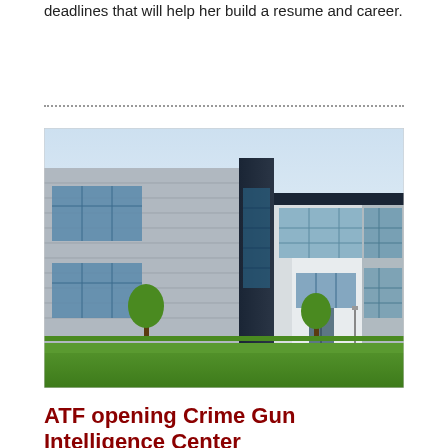deadlines that will help her build a resume and career.
[Figure (photo): Exterior photo of a modern government/office building with glass windows, white and dark panels, and green lawn in foreground.]
ATF opening Crime Gun Intelligence Center